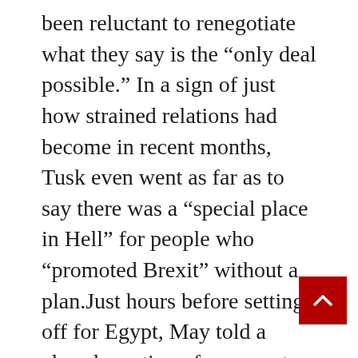been reluctant to renegotiate what they say is the “only deal possible.” In a sign of just how strained relations had become in recent months, Tusk even went as far as to say there was a “special place in Hell” for people who “promoted Brexit” without a plan.Just hours before setting off for Egypt, May told a closed meeting of grassroots Conservatives that Britain’s exit from the EU must not be “frustrated,” according to details of her speech released by Downing Street.“We must not, and I will not, frustrate what was the largest democratic exercise in this country’s history,” May said at the National Conservative Convention (NCC) in Oxford on Saturday. “In the very final stages of this process, the worst thing we could do is lose our focus,” she added.May’s Conservative Party is splintering over her handling of Brexit. Three